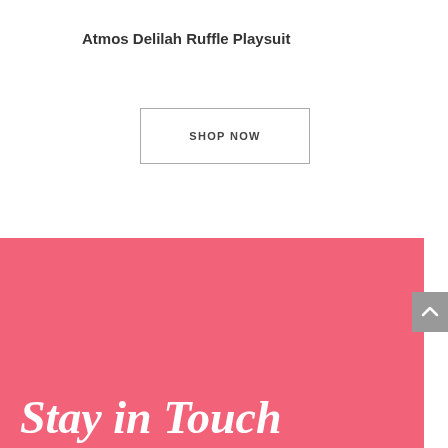Atmos Delilah Ruffle Playsuit
SHOP NOW
[Figure (other): Pink banner section with 'Stay in Touch' text in large white bold italic serif font]
Stay in Touch